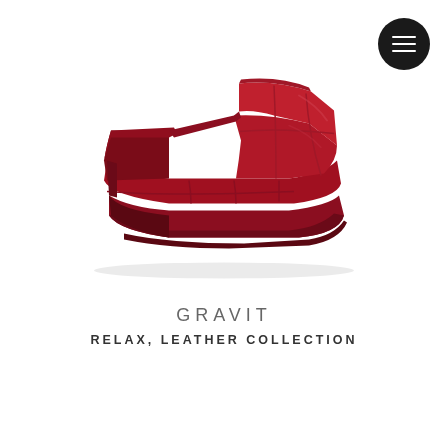[Figure (photo): Dark red velvet chaise longue / relax chair with tufted cushion segments, shown at a slight angle on white background]
GRAVIT
RELAX, LEATHER COLLECTION